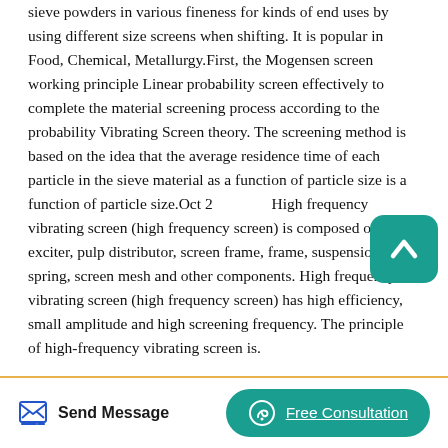Pharmaceutical Processing Application. The machine is used to sieve powders in various fineness for kinds of end uses by using different size screens when shifting. It is popular in Food, Chemical, Metallurgy.First, the Mogensen screen working principle Linear probability screen effectively to complete the material screening process according to the probability Vibrating Screen theory. The screening method is based on the idea that the average residence time of each particle in the sieve material as a function of particle size is a function of particle size.Oct 21 High frequency vibrating screen (high frequency screen) is composed of exciter, pulp distributor, screen frame, frame, suspension spring, screen mesh and other components. High frequency vibrating screen (high frequency screen) has high efficiency, small amplitude and high screening frequency. The principle of high-frequency vibrating screen is.
[Figure (other): Teal rounded square button with a white upward chevron/arrow icon, used as a scroll-to-top button]
Send Message   Free Consultation